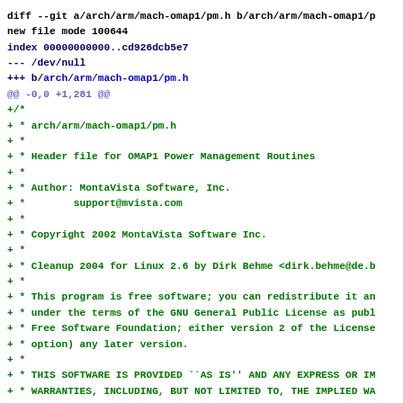diff --git a/arch/arm/mach-omap1/pm.h b/arch/arm/mach-omap1/p
new file mode 100644
index 00000000000..cd926dcb5e7
--- /dev/null
+++ b/arch/arm/mach-omap1/pm.h
@@ -0,0 +1,281 @@
+/*
+ * arch/arm/mach-omap1/pm.h
+ *
+ * Header file for OMAP1 Power Management Routines
+ *
+ * Author: MontaVista Software, Inc.
+ *        support@mvista.com
+ *
+ * Copyright 2002 MontaVista Software Inc.
+ *
+ * Cleanup 2004 for Linux 2.6 by Dirk Behme <dirk.behme@de.b
+ *
+ * This program is free software; you can redistribute it an
+ * under the terms of the GNU General Public License as publ
+ * Free Software Foundation; either version 2 of the License
+ * option) any later version.
+ *
+ * THIS SOFTWARE IS PROVIDED ``AS IS'' AND ANY EXPRESS OR IM
+ * WARRANTIES, INCLUDING, BUT NOT LIMITED TO, THE IMPLIED WA